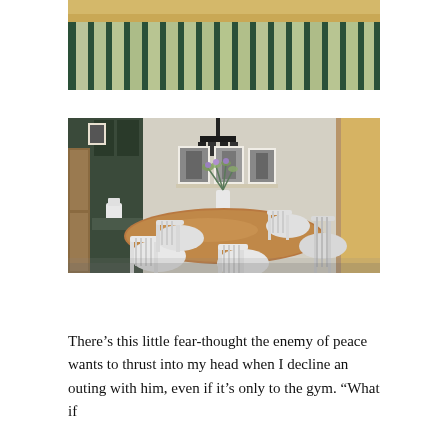[Figure (photo): Partial view of a green-railed porch or deck with windows looking out to green trees/foliage]
[Figure (photo): Interior dining room with a wooden table, white Windsor chairs, a white vase with flowers, black pendant light, framed photos on wall, and a window with warm light]
There’s this little fear-thought the enemy of peace wants to thrust into my head when I decline an outing with him, even if it’s only to the gym. “What if